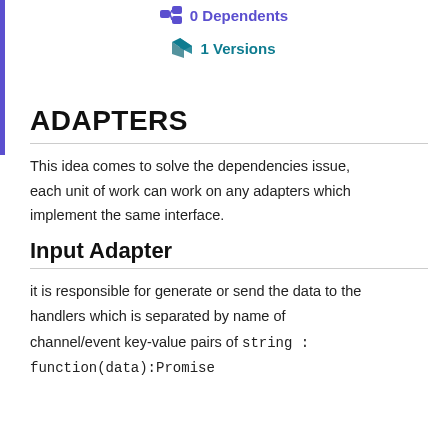0 Dependents
1 Versions
ADAPTERS
This idea comes to solve the dependencies issue, each unit of work can work on any adapters which implement the same interface.
Input Adapter
it is responsible for generate or send the data to the handlers which is separated by name of channel/event key-value pairs of string : function(data):Promise